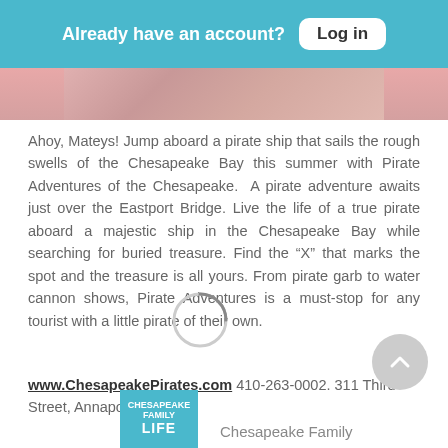Already have an account? Log in
[Figure (photo): Partial image strip showing a textured pink/red pattern, likely a pirate ship image cropped at the top]
Ahoy, Mateys! Jump aboard a pirate ship that sails the rough swells of the Chesapeake Bay this summer with Pirate Adventures of the Chesapeake. A pirate adventure awaits just over the Eastport Bridge. Live the life of a true pirate aboard a majestic ship in the Chesapeake Bay while searching for buried treasure. Find the “X” that marks the spot and the treasure is all yours. From pirate garb to water cannon shows, Pirate Adventures is a must-stop for any tourist with a little pirate of their own.
www.ChesapeakePirates.com 410-263-0002. 311 Third Street, Annapolis
[Figure (logo): Chesapeake Family Life logo - blue square with white text]
Chesapeake Family